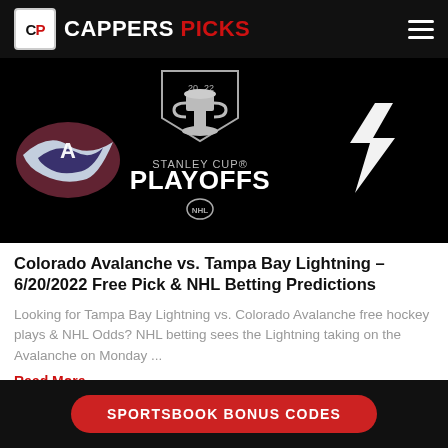CAPPERS PICKS
[Figure (photo): Colorado Avalanche vs Tampa Bay Lightning Stanley Cup Playoffs 2022 promotional image on black background]
Colorado Avalanche vs. Tampa Bay Lightning – 6/20/2022 Free Pick & NHL Betting Predictions
Looking for Tampa Bay Lightning vs. Colorado Avalanche free hockey plays & NHL Odds? NHL betting sees the Lightning taking on the Avalanche on Monday ...
Read More
SPORTSBOOK BONUS CODES